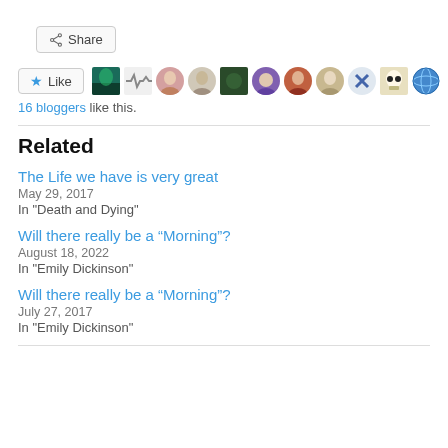[Figure (other): Share button with share icon]
[Figure (other): Like button with star icon followed by 11 blogger avatar thumbnails]
16 bloggers like this.
Related
The Life we have is very great
May 29, 2017
In "Death and Dying"
Will there really be a “Morning”?
August 18, 2022
In "Emily Dickinson"
Will there really be a “Morning”?
July 27, 2017
In "Emily Dickinson"